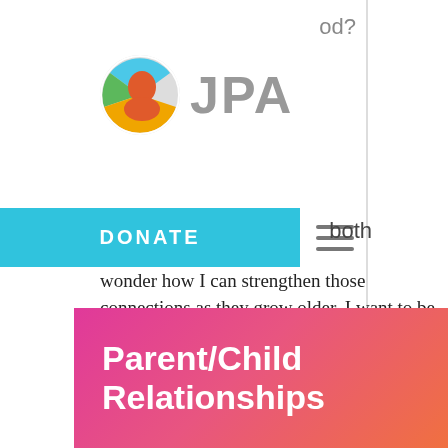od?
[Figure (logo): JPA logo - colorful circular icon with head silhouette and JPA text in gray]
both
DONATE
wonder how I can strengthen those connections as they grow older. I want to be sure they know they can come to me whenever they need to.
Read More
Parent/Child Relationships